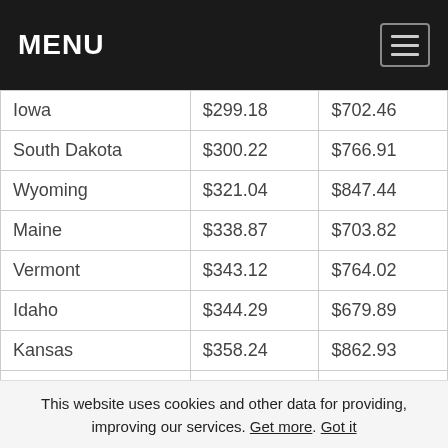MENU
| Iowa | $299.18 | $702.46 |
| South Dakota | $300.22 | $766.91 |
| Wyoming | $321.04 | $847.44 |
| Maine | $338.87 | $703.82 |
| Vermont | $343.12 | $764.02 |
| Idaho | $344.29 | $679.89 |
| Kansas | $358.24 | $862.93 |
| North Carolina | $359.42 | $789.09 |
| Nebraska | $364.64 | $831.02 |
| Wisconsin | $374.37 | $737.18 |
| Indiana | $382.68 | $755.03 |
| Montana | $386.29 | $863.52 |
This website uses cookies and other data for providing, improving our services. Get more. Got it